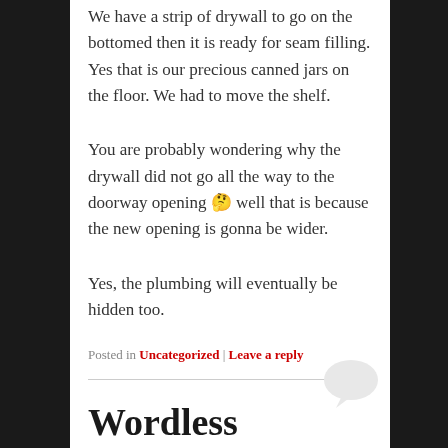We have a strip of drywall to go on the bottomed then it is ready for seam filling. Yes that is our precious canned jars on the floor. We had to move the shelf.
You are probably wondering why the drywall did not go all the way to the doorway opening 🤔 well that is because the new opening is gonna be wider.
Yes, the plumbing will eventually be hidden too.
Posted in Uncategorized | Leave a reply
Wordless
Wednesday